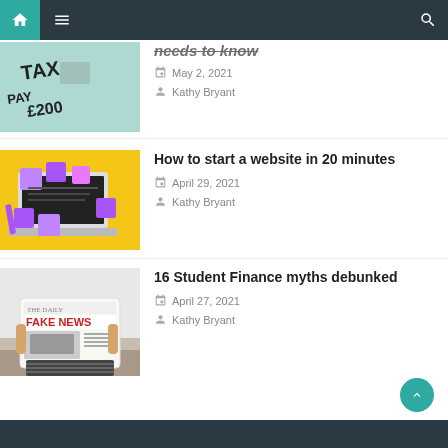Navigation bar with home, menu, and search icons
[Figure (screenshot): Partially visible article thumbnail showing a Monopoly board with TAX and PAY £200 text]
needs to know
May 2, 2021
Kathy Bryant
[Figure (photo): Laptop on yellow background with colorful sticky notes]
How to start a website in 20 minutes
April 29, 2021
Kathy Bryant
[Figure (photo): Person holding a newspaper with THE DAILY FAKE NEWS headline]
16 Student Finance myths debunked
April 27, 2021
Kathy Bryant
Footer bar